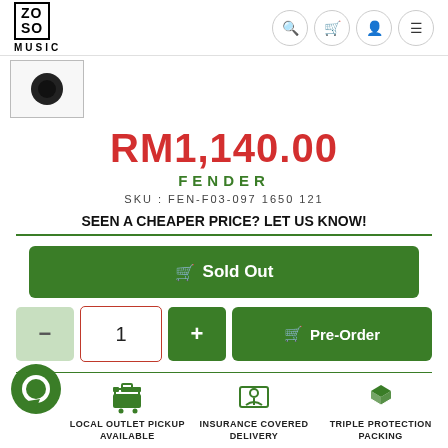[Figure (logo): ZOSO MUSIC logo in a black-bordered box with 'MUSIC' below in spaced letters]
RM1,140.00
FENDER
SKU : FEN-F03-097 1650 121
SEEN A CHEAPER PRICE? LET US KNOW!
🛒 Sold Out
1
🛒 Pre-Order
LOCAL OUTLET PICKUP AVAILABLE
INSURANCE COVERED DELIVERY
TRIPLE PROTECTION PACKING